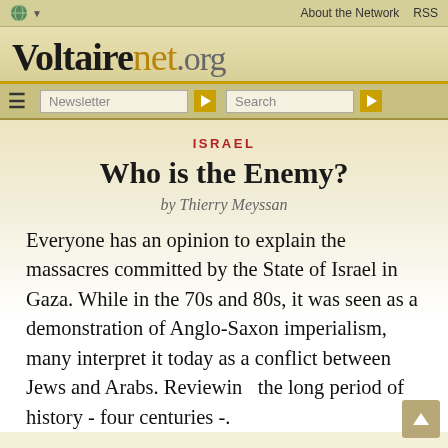About the Network  RSS
[Figure (logo): Voltairenet.org logo with globe icon and navigation bar]
ISRAEL
Who is the Enemy?
by Thierry Meyssan
Everyone has an opinion to explain the massacres committed by the State of Israel in Gaza. While in the 70s and 80s, it was seen as a demonstration of Anglo-Saxon imperialism, many interpret it today as a conflict between Jews and Arabs. Reviewing the long period of history - four centuries -.